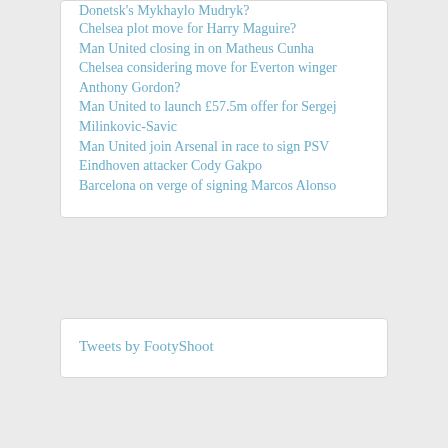Donetsk's Mykhaylo Mudryk?
Chelsea plot move for Harry Maguire?
Man United closing in on Matheus Cunha
Chelsea considering move for Everton winger Anthony Gordon?
Man United to launch £57.5m offer for Sergej Milinkovic-Savic
Man United join Arsenal in race to sign PSV Eindhoven attacker Cody Gakpo
Barcelona on verge of signing Marcos Alonso
Tweets by FootyShoot